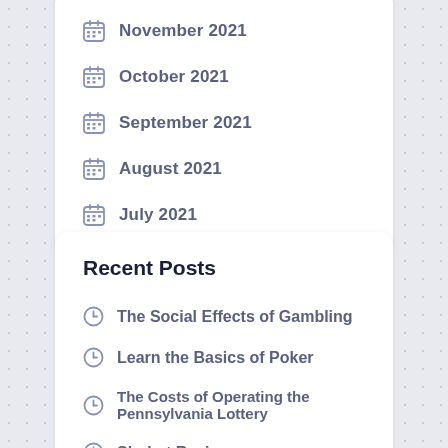November 2021
October 2021
September 2021
August 2021
July 2021
Recent Posts
The Social Effects of Gambling
Learn the Basics of Poker
The Costs of Operating the Pennsylvania Lottery
Sbobet Review